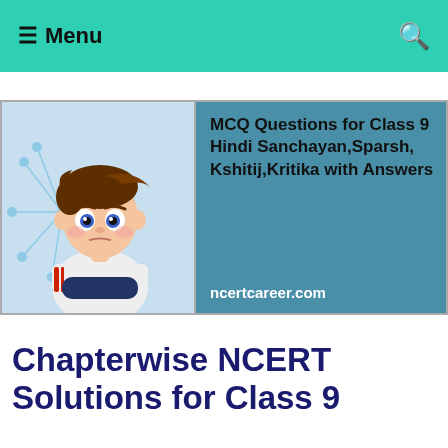Menu
[Figure (illustration): Website screenshot showing a navigation bar with teal/green background, a cartoon boy illustration on the left side of a featured image, and text on the right side of the featured image reading 'MCQ Questions for Class 9 Hindi Sanchayan,Sparsh, Kshitij,Kritika with Answers' with 'ncertcareer.com' below.]
Chapterwise NCERT Solutions for Class 9